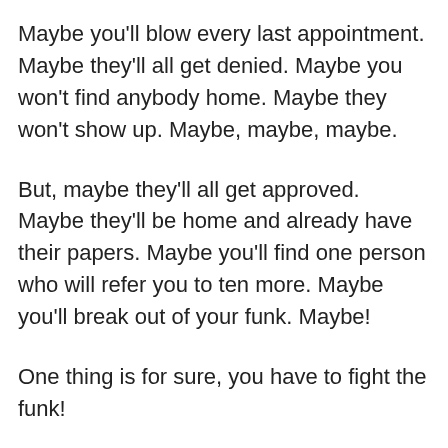Maybe you'll blow every last appointment. Maybe they'll all get denied. Maybe you won't find anybody home. Maybe they won't show up. Maybe, maybe, maybe.
But, maybe they'll all get approved. Maybe they'll be home and already have their papers. Maybe you'll find one person who will refer you to ten more. Maybe you'll break out of your funk. Maybe!
One thing is for sure, you have to fight the funk!
Peace,